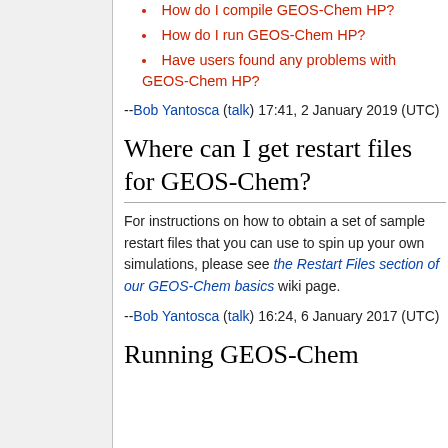How do I compile GEOS-Chem HP?
How do I run GEOS-Chem HP?
Have users found any problems with GEOS-Chem HP?
--Bob Yantosca (talk) 17:41, 2 January 2019 (UTC)
Where can I get restart files for GEOS-Chem?
For instructions on how to obtain a set of sample restart files that you can use to spin up your own simulations, please see the Restart Files section of our GEOS-Chem basics wiki page.
--Bob Yantosca (talk) 16:24, 6 January 2017 (UTC)
Running GEOS-Chem